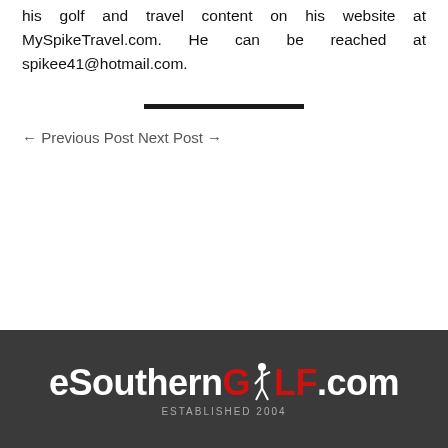his golf and travel content on his website at MySpikeTravel.com. He can be reached at spikee41@hotmail.com.
← Previous Post Next Post →
[Figure (logo): eSouthernGOLF.com logo in white and red text on dark grey background, with ESTABLISHED text below]